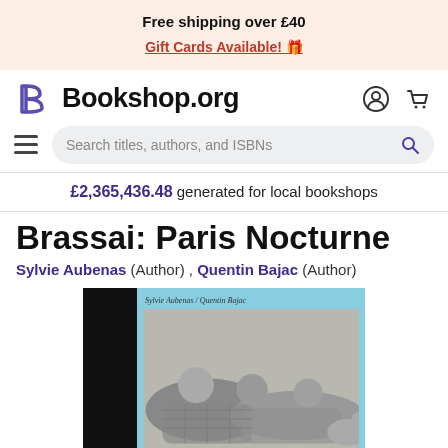Free shipping over £40
Gift Cards Available! 🎁
[Figure (logo): Bookshop.org logo with stylized B and wordmark, with account and cart icons on the right]
Search titles, authors, and ISBNs
£2,365,436.48 generated for local bookshops
Brassai: Paris Nocturne
Sylvie Aubenas (Author) , Quentin Bajac (Author)
[Figure (photo): Book cover of Brassai: Paris Nocturne showing a light blue background with a black and white photograph of people reclining, authors listed as Sylvie Aubenas / Quentin Bajac]